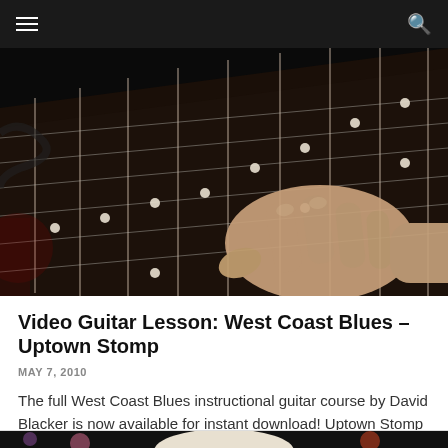≡  🔍
[Figure (photo): Close-up photo of a hand fretting a guitar neck on a dark background, showing the guitar fretboard with white fret markers and fingers pressing strings.]
Video Guitar Lesson: West Coast Blues – Uptown Stomp
MAY 7, 2010
The full West Coast Blues instructional guitar course by David Blacker is now available for instant download! Uptown Stomp - Introduction Great West Coast B...
[Figure (photo): Partial photo at bottom of page showing a person wearing a white cowboy hat against a dark background with colored bokeh lights.]